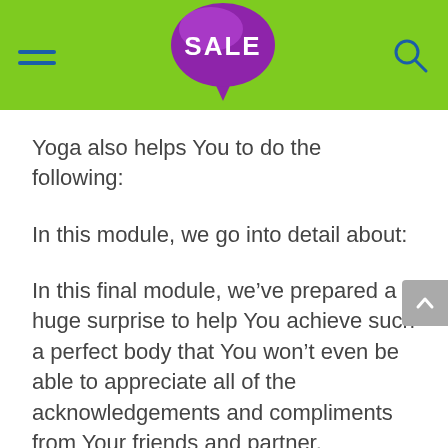SALE
Yoga also helps You to do the following:
In this module, we go into detail about:
In this final module, we’ve prepared a huge surprise to help You achieve such a perfect body that You won’t even be able to appreciate all of the acknowledgements and compliments from Your friends and partner.
By using these methods and techniques, anyone can burn fat at record speed and thus lose weight at an extremely fast pace.